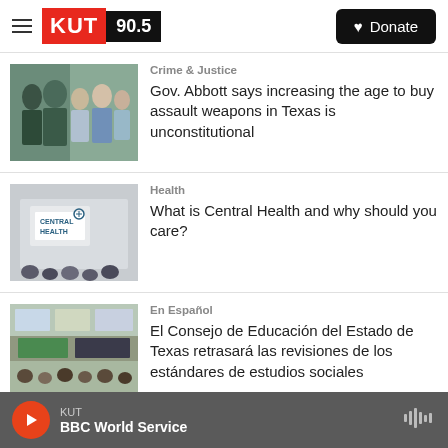KUT 90.5 | Donate
Crime & Justice
Gov. Abbott says increasing the age to buy assault weapons in Texas is unconstitutional
Health
What is Central Health and why should you care?
En Español
El Consejo de Educación del Estado de Texas retrasará las revisiones de los estándares de estudios sociales
KUT | BBC World Service